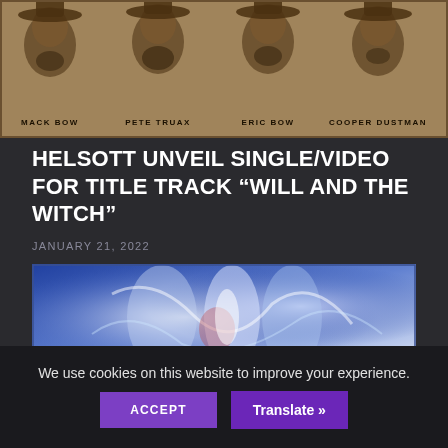[Figure (illustration): Sepia-toned illustrated portrait of four bearded men in cowboy hats labeled MACK BOW, PETE TRUAX, ERIC BOW, COOPER DUSTMAN]
HELSOTT UNVEIL SINGLE/VIDEO FOR TITLE TRACK “WILL AND THE WITCH”
JANUARY 21, 2022
[Figure (photo): Blue-toned fantasy image of ethereal glowing figures, possibly depicting a witch scene]
We use cookies on this website to improve your experience.
ACCEPT
Translate »